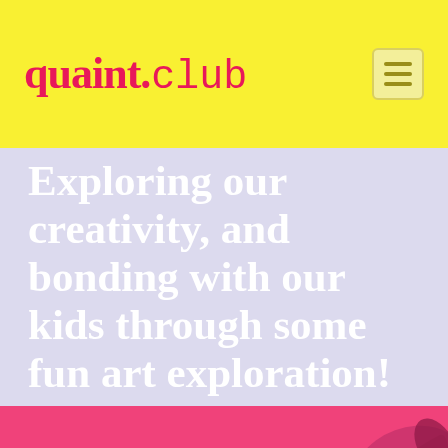quaint.club
Exploring our creativity, and bonding with our kids through some fun art exploration!
We're excited you're here!